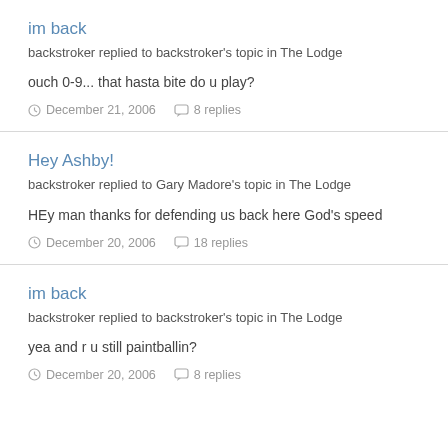im back
backstroker replied to backstroker's topic in The Lodge
ouch 0-9... that hasta bite do u play?
December 21, 2006   8 replies
Hey Ashby!
backstroker replied to Gary Madore's topic in The Lodge
HEy man thanks for defending us back here God's speed
December 20, 2006   18 replies
im back
backstroker replied to backstroker's topic in The Lodge
yea and r u still paintballin?
December 20, 2006   8 replies